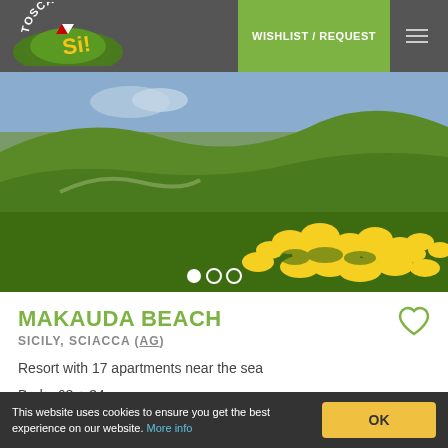TOSCANA Si! — WISHLIST / REQUEST
[Figure (photo): Green hillside landscape with yellow flowering plants in foreground and a path curving through the grass. Carousel with 3 dots (first filled).]
MAKAUDA BEACH
SICILY, SCIACCA (AG)
Resort with 17 apartments near the sea
Beds: 68 + 34
10 m from the coast
[Figure (infographic): Amenity icons: WiFi, washing machine, snowflake/air conditioning]
This website uses cookies to ensure you get the best experience on our website. More info